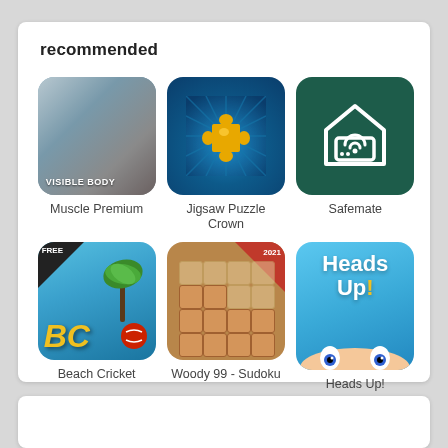recommended
[Figure (illustration): App icon for Muscle Premium - showing a muscular human face/body with 'Visible Body' text]
Muscle Premium
[Figure (illustration): App icon for Jigsaw Puzzle Crown - golden puzzle piece on blue radial background]
Jigsaw Puzzle Crown
[Figure (illustration): App icon for Safemate - dark green background with white house/router icon]
Safemate
[Figure (illustration): App icon for Beach Cricket - FREE banner, BC letters, palm tree on blue sky]
Beach Cricket
[Figure (illustration): App icon for Woody 99 Sudoku - wooden block puzzle grid with 2021 banner]
Woody 99 - Sudoku
[Figure (illustration): App icon for Heads Up! - blue background with Heads Up! text and cartoon eyes]
Heads Up!